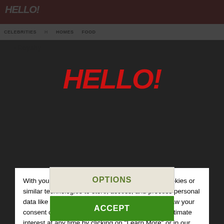[Figure (screenshot): HELLO! magazine website screenshot showing navigation bar with HELLO! logo, nav items CELEBRITIES, HOMES, FOOD, and a breadcrumb showing Royalty]
[Figure (logo): HELLO! magazine logo in large red italic bold text centered in modal overlay]
With your agreement, we and our partners use cookies or similar technologies to store, access, and process personal data like your visit on this website. You can withdraw your consent or object to data processing based on legitimate interest at any time by clicking on "Learn More" or in our Privacy Policy on this website.
Our partners do the following of the following:
Personalised ads and content, ad and content measurement, audience insights and product development, Precise geolocation data, and identification through device scanning, Store and/or access information on a device
OPTIONS
ACCEPT